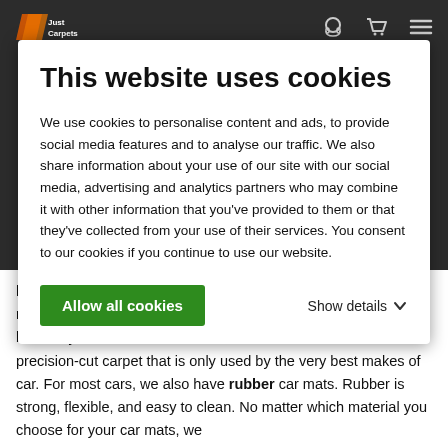Just Carpets
This website uses cookies
We use cookies to personalise content and ads, to provide social media features and to analyse our traffic. We also share information about your use of our site with our social media, advertising and analytics partners who may combine it with other information that you've provided to them or that they've collected from your use of their services. You consent to our cookies if you continue to use our website.
Allow all cookies
Show details
look worthy of your Mini Cooper / One R56 . Our Saxony car mats are made of very high-quality carpet. If you want the very best for your car, choose these luxurious car mats. Exclusive, precision-cut carpet that is only used by the very best makes of car. For most cars, we also have rubber car mats. Rubber is strong, flexible, and easy to clean. No matter which material you choose for your car mats, we